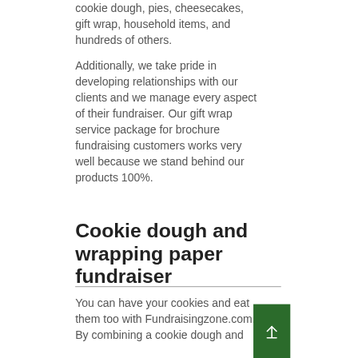cookie dough, pies, cheesecakes, gift wrap, household items, and hundreds of others.
Additionally, we take pride in developing relationships with our clients and we manage every aspect of their fundraiser. Our gift wrap service package for brochure fundraising customers works very well because we stand behind our products 100%.
Cookie dough and wrapping paper fundraiser
You can have your cookies and eat them too with Fundraisingzone.com. By combining a cookie dough and